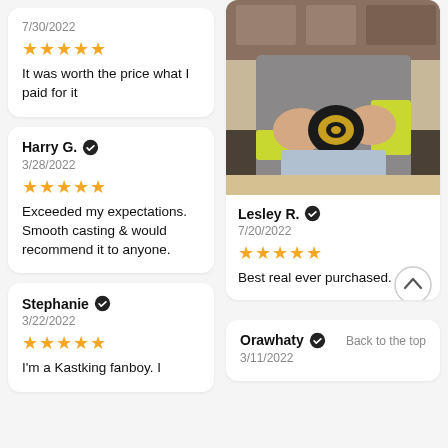7/30/2022 — It was worth the price what I paid for it
Harry G. — 3/28/2022 — Exceeded my expectations. Smooth casting & would recommend it to anyone.
Stephanie — 3/22/2022 — I'm a Kastking fanboy. I
[Figure (photo): Person holding a fishing reel (KastKing branded) with yellow-green sleeve/glove visible, in a home setting]
Lesley R. — 7/20/2022 — Best real ever purchased.
Orawhaty — Back to the top — 3/11/2022